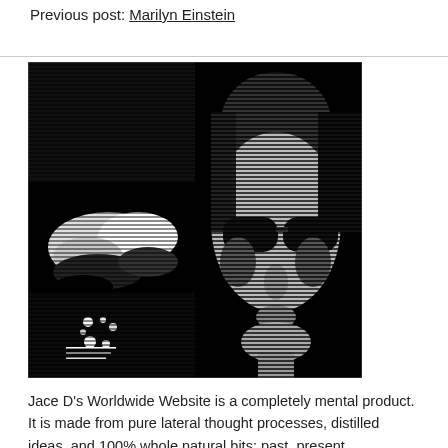Previous post: Marilyn Einstein
[Figure (illustration): A high-contrast black and white halftone-style composite image. The left half shows an abstract dark figure, and the right half shows a face with sunglasses rendered in horizontal scan lines on a black background.]
Jace D's Worldwide Website is a completely mental product. It is made from pure lateral thought processes, distilled ideas, and 100% whole natural bits: past, present,